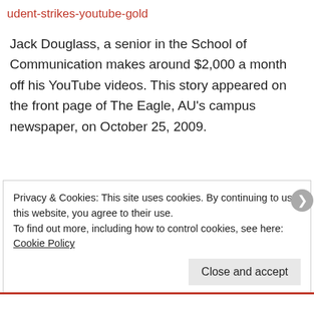udent-strikes-youtube-gold
Jack Douglass, a senior in the School of Communication makes around $2,000 a month off his YouTube videos. This story appeared on the front page of The Eagle, AU's campus newspaper, on October 25, 2009.
Privacy & Cookies: This site uses cookies. By continuing to use this website, you agree to their use.
To find out more, including how to control cookies, see here: Cookie Policy
Close and accept